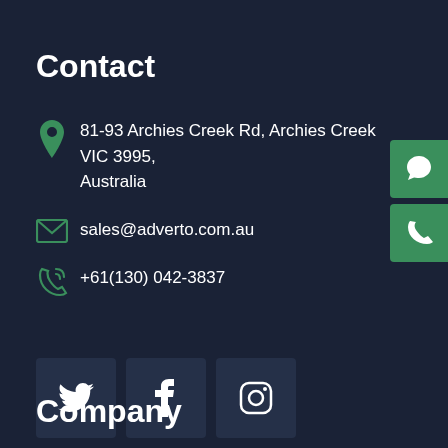Contact
81-93 Archies Creek Rd, Archies Creek VIC 3995, Australia
sales@adverto.com.au
+61(130) 042-3837
[Figure (infographic): Three social media icon boxes: Twitter (bird), Facebook (f), Instagram (camera outline) on dark background]
Company